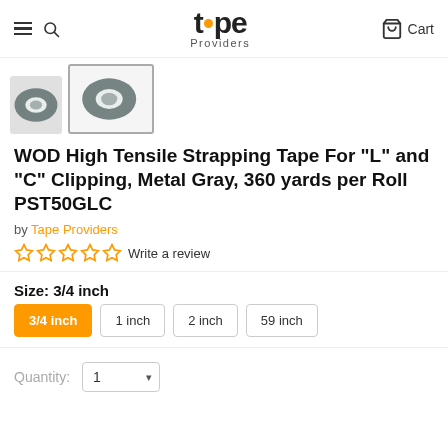Tape Providers — Cart
[Figure (screenshot): Two rolls of gray strapping tape shown as product thumbnail images]
WOD High Tensile Strapping Tape For "L" and "C" Clipping, Metal Gray, 360 yards per Roll PST50GLC
by Tape Providers
☆☆☆☆☆ Write a review
Size: 3/4 inch
3/4 inch
1 inch
2 inch
59 inch
Quantity: 1